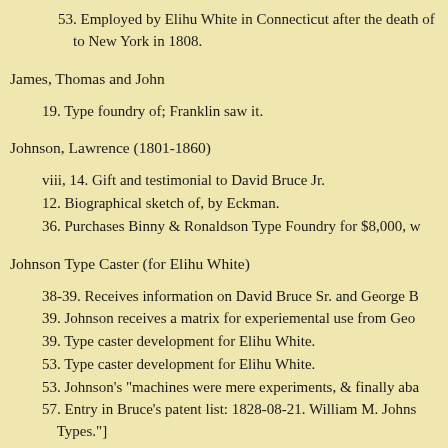53. Employed by Elihu White in Connecticut after the death of to New York in 1808.
James, Thomas and John
19. Type foundry of; Franklin saw it.
Johnson, Lawrence (1801-1860)
viii, 14. Gift and testimonial to David Bruce Jr.
12. Biographical sketch of, by Eckman.
36. Purchases Binny & Ronaldson Type Foundry for $8,000, w
Johnson Type Caster (for Elihu White)
38-39. Receives information on David Bruce Sr. and George B
39. Johnson receives a matrix for experiemental use from Geo
39. Type caster development for Elihu White.
53. Type caster development for Elihu White.
53. Johnson's "machines were mere experiments, & finally aba
57. Entry in Bruce's patent list: 1828-08-21. William M. Johns Types."]
Bruce is too harsh in his judgment on these machines. In the Commissioner of Patents, he writes: "First among [im